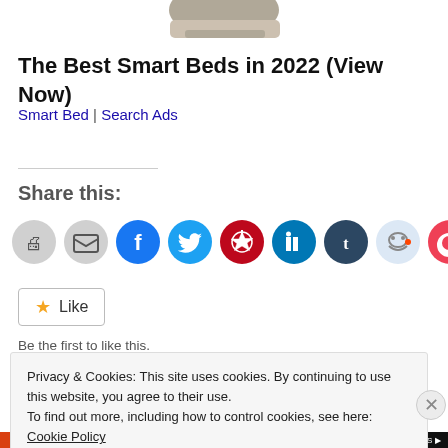[Figure (illustration): Partial view of a bed/mattress product image at the top of the page]
The Best Smart Beds in 2022 (View Now)
Smart Bed | Search Ads
Share this:
[Figure (infographic): Row of social sharing icon buttons: print, email, Facebook, Twitter, Pinterest, LinkedIn, Tumblr, Reddit, Pocket]
Like
Be the first to like this.
Privacy & Cookies: This site uses cookies. By continuing to use this website, you agree to their use.
To find out more, including how to control cookies, see here: Cookie Policy
Close and accept